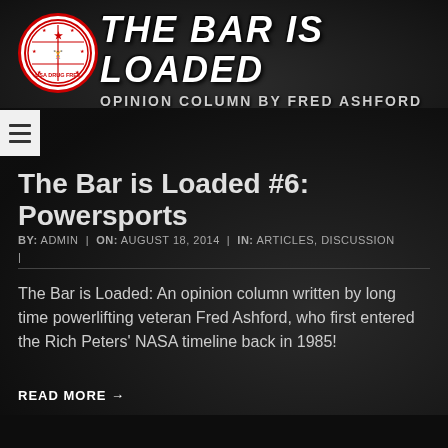[Figure (photo): Banner header image showing 'THE BAR IS LOADED' in large bold italic white text with a Natural Nationals USA Drug Free circular logo on the left, and 'OPINION COLUMN BY FRED ASHFORD' as subtitle. Background shows a powerlifting competition scene.]
The Bar is Loaded #6: Powersports
BY: ADMIN | ON: AUGUST 18, 2014 | IN: ARTICLES, DISCUSSION |
The Bar is Loaded: An opinion column written by long time powerlifting veteran Fred Ashford, who first entered the Rich Peters' NASA timeline back in 1985!
READ MORE →